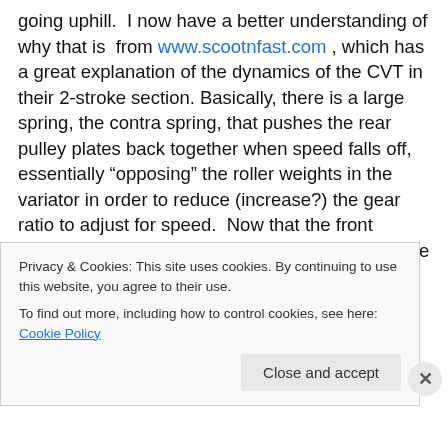going uphill.  I now have a better understanding of why that is  from www.scootnfast.com , which has a great explanation of the dynamics of the CVT in their 2-stroke section. Basically, there is a large spring, the contra spring, that pushes the rear pulley plates back together when speed falls off, essentially “opposing” the roller weights in the variator in order to reduce (increase?) the gear ratio to adjust for speed.  Now that the front weights are lighter, this spring will push back more quickly when speed drops off, which causes the gear ratio to change more quickly and give more power for maintaining speed
Privacy & Cookies: This site uses cookies. By continuing to use this website, you agree to their use.
To find out more, including how to control cookies, see here: Cookie Policy